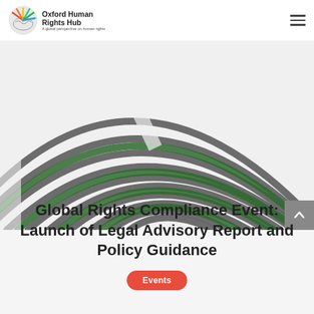Oxford Human Rights Hub — A global perspective on human rights
[Figure (illustration): Abstract fingerprint/labyrinth decorative graphic with dark grey and green concentric curved lines on a light grey background]
Global Rights Compliance Event: Launch of Legal Advisory Report and Policy Guidance
Events